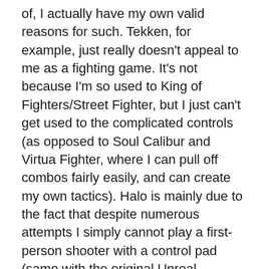of, I actually have my own valid reasons for such. Tekken, for example, just really doesn't appeal to me as a fighting game. It's not because I'm so used to King of Fighters/Street Fighter, but I just can't get used to the complicated controls (as opposed to Soul Calibur and Virtua Fighter, where I can pull off combos fairly easily, and can create my own tactics). Halo is mainly due to the fact that despite numerous attempts I simply cannot play a first-person shooter with a control pad (same with the original Unreal Tournament on PS2).
So all in all, for me it's both from actual experience and mostly a general lack of money (thank you, full-time college..). If I do spot a good game for a modern console, I'll definitely rent it (since a friend of mine down the street and I usually rent games on occasion at Blockbuster), otherwise I'll just not play it again (stupid Yu Yu Hakusho fighter on PS2.. bloody awful excuse of a game..)